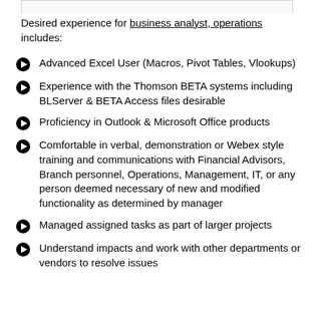Desired experience for business analyst, operations includes:
Advanced Excel User (Macros, Pivot Tables, Vlookups)
Experience with the Thomson BETA systems including BLServer & BETA Access files desirable
Proficiency in Outlook & Microsoft Office products
Comfortable in verbal, demonstration or Webex style training and communications with Financial Advisors, Branch personnel, Operations, Management, IT, or any person deemed necessary of new and modified functionality as determined by manager
Managed assigned tasks as part of larger projects
Understand impacts and work with other departments or vendors to resolve issues